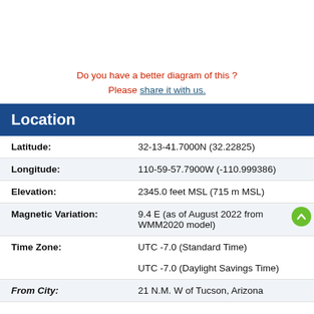Do you have a better diagram of this ?
Please share it with us.
Location
| Field | Value |
| --- | --- |
| Latitude: | 32-13-41.7000N (32.22825) |
| Longitude: | 110-59-57.7900W (-110.999386) |
| Elevation: | 2345.0 feet MSL (715 m MSL) |
| Magnetic Variation: | 9.4 E (as of August 2022 from WMM2020 model) |
| Time Zone: | UTC -7.0 (Standard Time)
UTC -7.0 (Daylight Savings Time) |
| From City: | 21 N.M. W of Tucson, Arizona |